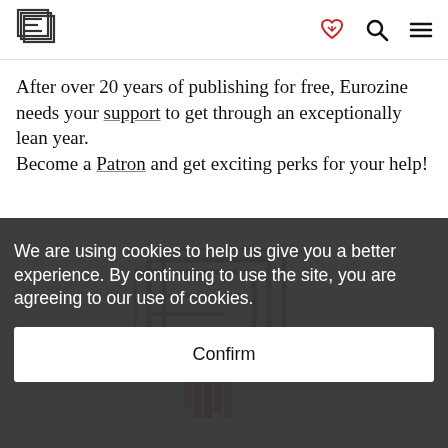Eurozine header with logo and navigation icons
After over 20 years of publishing for free, Eurozine needs your support to get through an exceptionally lean year. Become a Patron and get exciting perks for your help!
[Figure (logo): Eurozine logo (stacked E letterforms in dark outline)]
We are using cookies to help us give you a better experience. By continuing to use the site, you are agreeing to our use of cookies.
Confirm